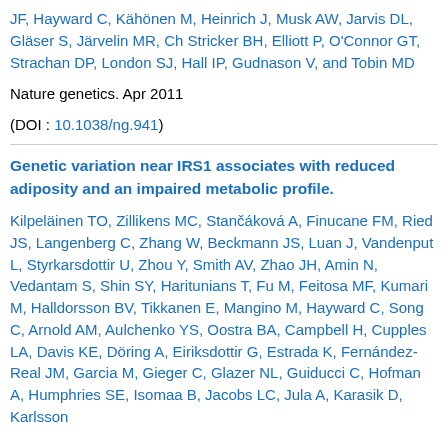JF, Hayward C, Kähönen M, Heinrich J, Musk AW, Jarvis DL, Gläser S, Järvelin MR, Ch Stricker BH, Elliott P, O'Connor GT, Strachan DP, London SJ, Hall IP, Gudnason V, and Tobin MD
Nature genetics. Apr 2011
(DOI : 10.1038/ng.941)
Genetic variation near IRS1 associates with reduced adiposity and an impaired metabolic profile.
Kilpeläinen TO, Zillikens MC, Stančáková A, Finucane FM, Ried JS, Langenberg C, Zhang W, Beckmann JS, Luan J, Vandenput L, Styrkarsdottir U, Zhou Y, Smith AV, Zhao JH, Amin N, Vedantam S, Shin SY, Haritunians T, Fu M, Feitosa MF, Kumari M, Halldorsson BV, Tikkanen E, Mangino M, Hayward C, Song C, Arnold AM, Aulchenko YS, Oostra BA, Campbell H, Cupples LA, Davis KE, Döring A, Eiriksdottir G, Estrada K, Fernández-Real JM, Garcia M, Gieger C, Glazer NL, Guiducci C, Hofman A, Humphries SE, Isomaa B, Jacobs LC, Jula A, Karasik D, Karlsson